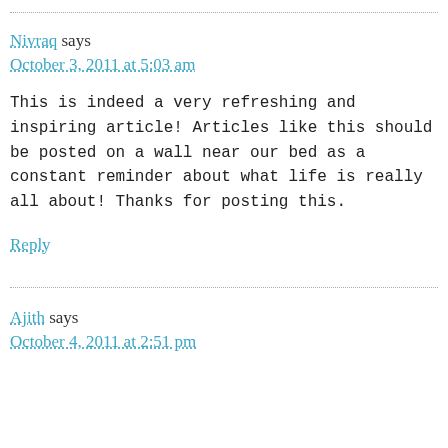Nivraq says
October 3, 2011 at 5:03 am
This is indeed a very refreshing and inspiring article! Articles like this should be posted on a wall near our bed as a constant reminder about what life is really all about! Thanks for posting this.
Reply
Ajith says
October 4, 2011 at 2:51 pm